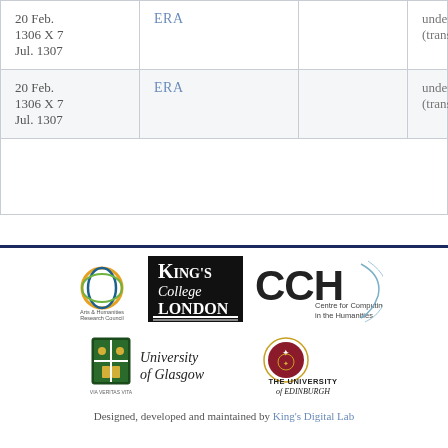| Date | Type |  | Description |
| --- | --- | --- | --- |
| 20 Feb. 1306 X 7 Jul. 1307 | ERA |  | undefined (transaction) |
| 20 Feb. 1306 X 7 Jul. 1307 | ERA |  | undefined (transaction) |
[Figure (logo): Logos of Arts & Humanities Research Council, King's College London, CCH Centre for Computing in the Humanities, University of Glasgow, The University of Edinburgh]
Designed, developed and maintained by King's Digital Lab